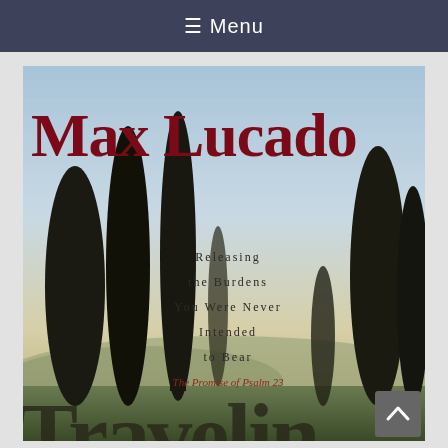≡ Menu
[Figure (illustration): Book cover of 'Traveling Light' by Max Lucado. Features tall dark cypress trees silhouetted against a soft sky at dusk/dawn. Large dark red serif text at top reads 'MAX LUCADO'. In the center-right area, smaller dark text in spaced small caps reads 'Releasing the Burdens You Were Never Intended to Bear'. Below that in italic script: 'The Promise of Psalm 23'. At the bottom in large partially-cropped text: 'TRAVELLIN' (title continues off page).]